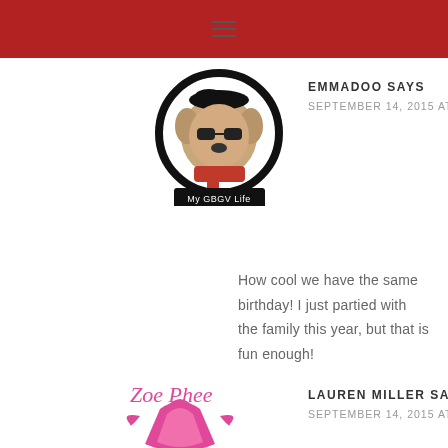EMMADOO SAYS
SEPTEMBER 14, 2015 AT 19:24
[Figure (logo): My GBGV Life dog avatar logo — cartoon dog wearing beret and red scarf inside black circle with text 'My GBGV Life' at bottom]
How cool we have the same birthday! I just partied with the family this year, but that is fun enough!
LAUREN MILLER SAYS
SEPTEMBER 14, 2015 AT 17:29
[Figure (logo): Zoe Phee logo — pink stylized fox/bird graphic with cursive 'Zoe Phee' text above and circular text around the bottom reading 'The M... Adburns']